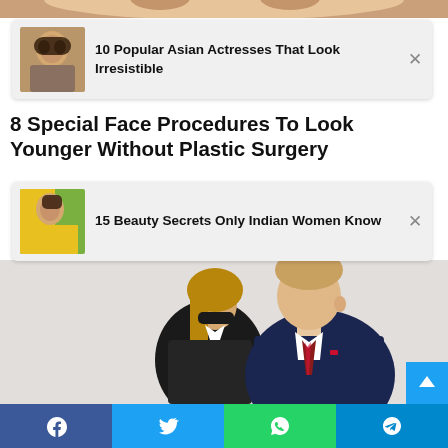[Figure (photo): Top portion of a woman's face, cropped at top of page]
[Figure (infographic): Ad card: thumbnail of Asian woman with text '10 Popular Asian Actresses That Look Irresistible' and close button]
8 Special Face Procedures To Look Younger Without Plastic Surgery
[Figure (infographic): Ad card: thumbnail of Indian woman in yellow dress with text '15 Beauty Secrets Only Indian Women Know' and close button]
[Figure (photo): Photo of two people (man in dark navy suit with tie, woman with sunglasses and long hair), likely Donald Trump and Melania Trump]
[Figure (infographic): Social share bar with Facebook, Twitter, WhatsApp, and Telegram buttons]